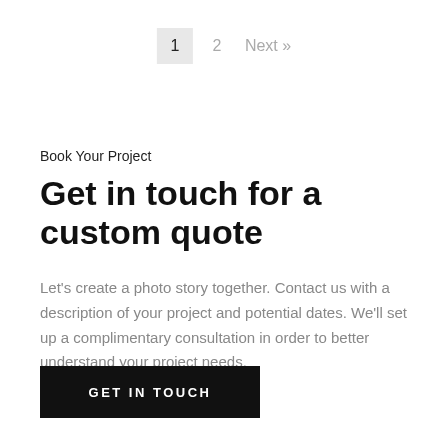1  2  Next »
Book Your Project
Get in touch for a custom quote
Let's create a photo story together. Contact us with a description of your project and potential dates. We'll set up a complimentary consultation in order to better understand your project needs.
GET IN TOUCH